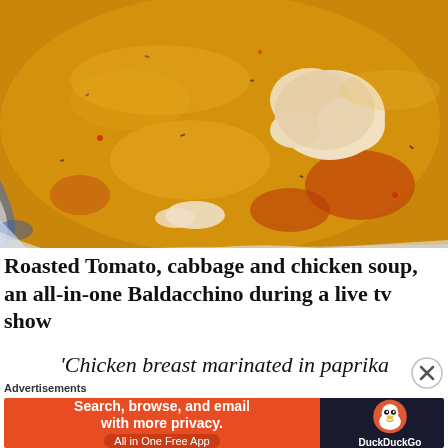[Figure (photo): Close-up photo of a bowl of roasted tomato, cabbage and chicken soup with golden-orange broth, pieces of chicken, herbs, and a blue and white patterned bowl visible at the edges.]
Roasted Tomato, cabbage and chicken soup, an all-in-one Baldacchino during a live tv show
‘Chicken breast marinated in paprika
Advertisements
[Figure (screenshot): DuckDuckGo advertisement banner. Orange section reads 'Search, browse, and email with more privacy. All in One Free App'. Dark section shows DuckDuckGo duck logo.]